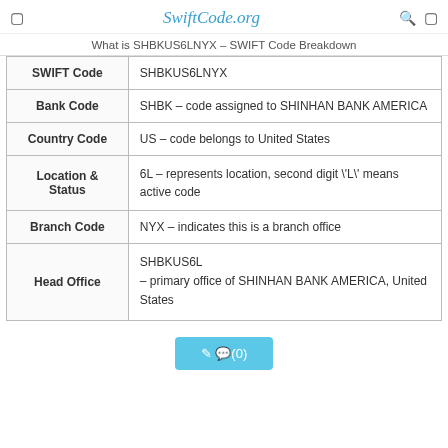SwiftCode.org
What is SHBKUS6LNYX – SWIFT Code Breakdown
|  |  |
| --- | --- |
| SWIFT Code | SHBKUS6LNYX |
| Bank Code | SHBK – code assigned to SHINHAN BANK AMERICA |
| Country Code | US – code belongs to United States |
| Location & Status | 6L – represents location, second digit \'L\' means active code |
| Branch Code | NYX – indicates this is a branch office |
| Head Office | SHBKUS6L
– primary office of SHINHAN BANK AMERICA, United States |
🖊 💬(0)